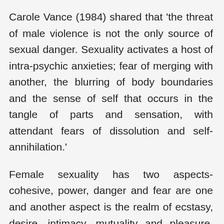Carole Vance (1984) shared that 'the threat of male violence is not the only source of sexual danger. Sexuality activates a host of intra-psychic anxieties; fear of merging with another, the blurring of body boundaries and the sense of self that occurs in the tangle of parts and sensation, with attendant fears of dissolution and self-annihilation.'
Female sexuality has two aspects- cohesive, power, danger and fear are one and another aspect is the realm of ecstasy, desire, intimacy, mutuality and pleasure. Women's sexuality and embodied agency are potentially under the control of the hetero-patriarchal logic. Michel Foucault opined that 'the body is not simply a passive surface, inscribed by